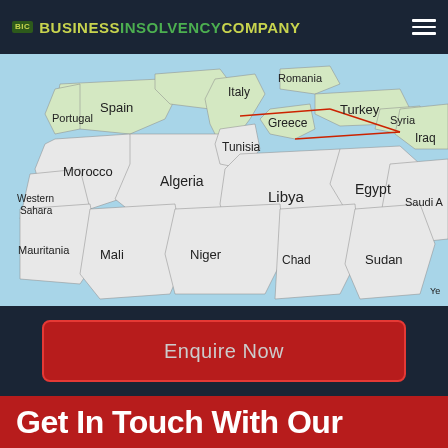BUSINESSINSOLVENCYCOMPANY
[Figure (map): A geographical map showing the Mediterranean region including countries: Spain, Portugal, Morocco, Algeria, Tunisia, Libya, Egypt, Western Sahara, Mauritania, Mali, Niger, Chad, Sudan, Italy, Romania, Greece, Turkey, Syria, Iraq, Saudi Arabia, and Yemen. Red lines are drawn on the map connecting several points across the region.]
Enquire Now
Get In Touch With Our